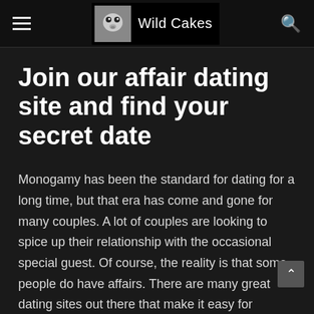Wild Cakes
Join our affair dating site and find your secret date
Monogamy has been the standard for dating for a long time, but that era has come and gone for many couples. A lot of couples are looking to spice up their relationship with the occasional special guest. Of course, the reality is that some people do have affairs. There are many great dating sites out there that make it easy for married people to meet new interests, from casual partners to relationship-worthy partners and everything in between. These dating sites for married people do it all, and they do it discreetly. Here are some affair sites or hookup sites that are absolutely worth